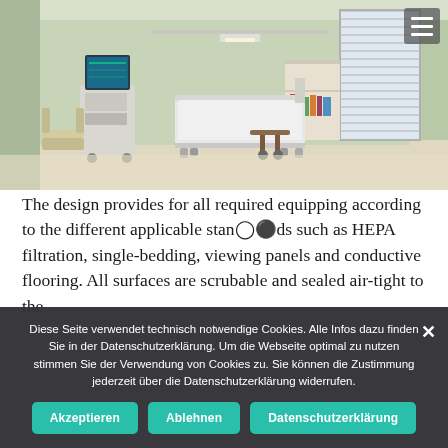[Figure (photo): Hospital room interior with green walls, a medical bed, monitoring equipment on a cart, a chair, and a window with blinds. Clean, modern clinical environment.]
The design provides for all required equipping according to the different applicable standards such as HEPA filtration, single-bedding, viewing panels and conductive flooring. All surfaces are scrubable and sealed air-tight to the
Diese Seite verwendet technisch notwendige Cookies. Alle Infos dazu finden Sie in der Datenschutzerklärung. Um die Webseite optimal zu nutzen stimmen Sie der Verwendung von Cookies zu. Sie können die Zustimmung jederzeit über die Datenschutzerklärung widerrufen.